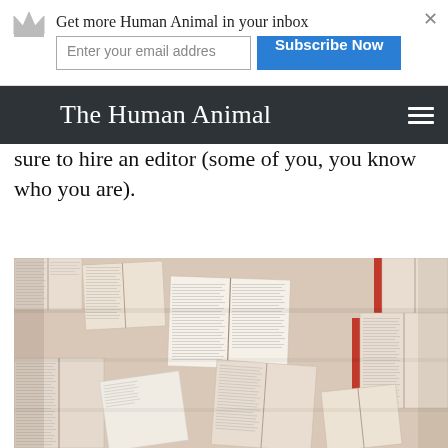Get more Human Animal in your inbox | Enter your email addres | Subscribe Now
The Human Animal
sure to hire an editor (some of you, you know who you are).
[Figure (photo): A dense collage of open books viewed from above, pages spread outward in various directions, showing printed text pages in cream/beige tones with some red book spines visible.]